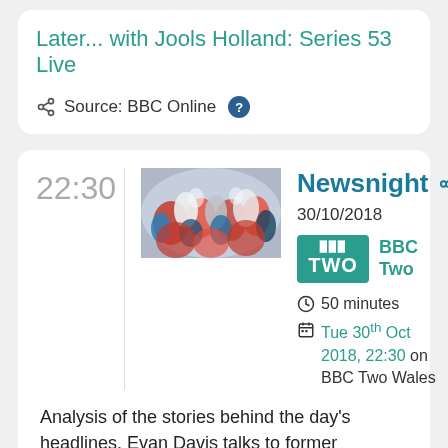Later... with Jools Holland: Series 53 Live
Source: BBC Online
22:30
[Figure (photo): Thumbnail image for Newsnight showing crowd with red, white and blue flags/costumes]
Newsnight
30/10/2018
BBC TWO BBC Two
50 minutes
Tue 30th Oct 2018, 22:30 on BBC Two Wales
Analysis of the stories behind the day's headlines. Evan Davis talks to former chancellor George Osborne about the impact of austerity